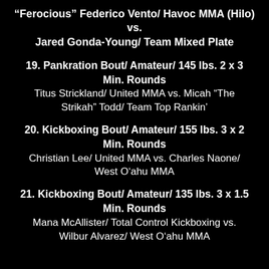“Ferocious” Federico Vento/ Havoc MMA (Hilo) vs. Jared Gonda-Young/ Team Mixed Plate
19. Pankration Bout/ Amateur/ 145 lbs. 2 x 3 Min. Rounds
Titus Strickland/ United MMA vs. Micah “The Strikah” Todd/ Team Top Rankin’
20. Kickboxing Bout/ Amateur/ 155 lbs. 3 x 2 Min. Rounds
Christian Lee/ United MMA vs. Charles Naone/ West O’ahu MMA
21. Kickboxing Bout/ Amateur/ 135 lbs. 3 x 1.5 Min. Rounds
Mana McAllister/ Total Control Kickboxing vs. Wilbur Alvarez/ West O’ahu MMA